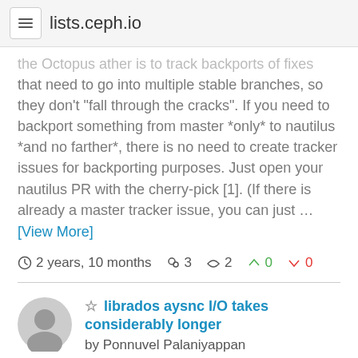lists.ceph.io
the Octopusather is to track backports of fixes that need to go into multiple stable branches, so they don't "fall through the cracks". If you need to backport something from master *only* to nautilus *and no farther*, there is no need to create tracker issues for backporting purposes. Just open your nautilus PR with the cherry-pick [1]. (If there is already a master tracker issue, you can just … [View More]
2 years, 10 months  3  2  0  0
librados aysnc I/O takes considerably longer by Ponnuvel Palaniyappan Hi, Is anyone using librados AIO APIs? I seem to have a problem with that where the rados_aio_wait_for_complete() call just waits for a